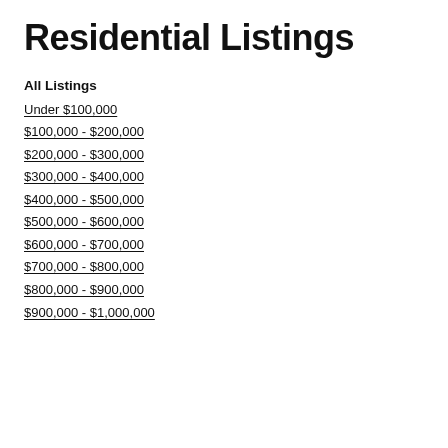Residential Listings
All Listings
Under $100,000
$100,000 - $200,000
$200,000 - $300,000
$300,000 - $400,000
$400,000 - $500,000
$500,000 - $600,000
$600,000 - $700,000
$700,000 - $800,000
$800,000 - $900,000
$900,000 - $1,000,000